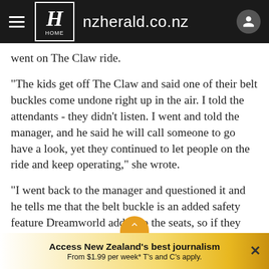nzherald.co.nz
went on The Claw ride.
"The kids get off The Claw and said one of their belt buckles come undone right up in the air. I told the attendants - they didn't listen. I went and told the manager, and he said he will call someone to go have a look, yet they continued to let people on the ride and keep operating," she wrote.
"I went back to the manager and questioned it and he tells me that the belt buckle is an added safety feature Dreamworld added to the seats, so if they come undone
Access New Zealand's best journalism From $1.99 per week* T's and C's apply.